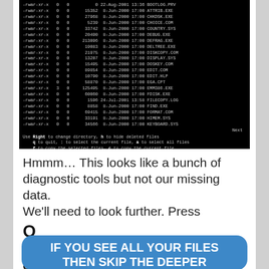[Figure (screenshot): A black terminal/command-line screen showing a directory listing of DOS system files with permissions, sizes, dates, and filenames. Files include ATTRIB.EXE, CHKDSK.EXE, CHOICE.COM, COUNTRY.SYS, DEBUG.EXE, DEFRAG.EXE, DELTREE.EXE, DISKCOPY.COM, DISPLAY.SYS, DOSKEY.COM, EDIT.COM, EDIT.HLP, EGA.CPT, EMM386.EXE, FDISK.EXE, FILECOPY.LOG, FIND.EXE, FORMAT.COM, HIMEM.SYS, KEYBOARD.SYS. Bottom shows navigation help text.]
Hmmm… This looks like a bunch of diagnostic tools but not our missing data. We'll need to look further. Press Q to go back a screen and then press enter
IF YOU SEE ALL YOUR FILES THEN SKIP THE DEEPER